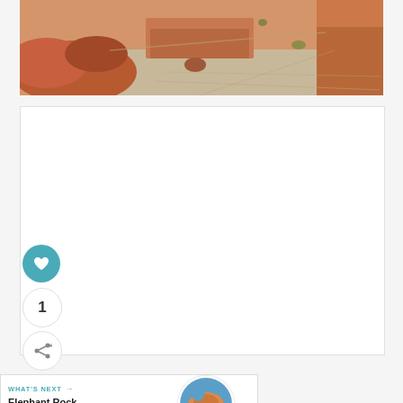[Figure (photo): Outdoor landscape photo showing red rock desert terrain with a gravel path, rustic structures, and desert vegetation under bright daylight.]
[Figure (photo): White card / content area below the main photo with UI interaction elements: a teal heart/like button, a count circle showing 1, and a share button.]
1
WHAT'S NEXT → Elephant Rock at Valley of...
[Figure (photo): Circular thumbnail image of a rocky desert formation (Elephant Rock at Valley of Fire).]